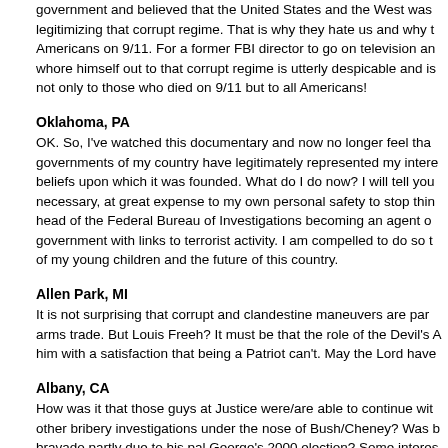government and believed that the United States and the West was legitimizing that corrupt regime. That is why they hate us and why t Americans on 9/11. For a former FBI director to go on television an whore himself out to that corrupt regime is utterly despicable and is not only to those who died on 9/11 but to all Americans!
Oklahoma, PA
OK. So, I've watched this documentary and now no longer feel tha governments of my country have legitimately represented my intere beliefs upon which it was founded. What do I do now? I will tell you necessary, at great expense to my own personal safety to stop thin head of the Federal Bureau of Investigations becoming an agent o government with links to terrorist activity. I am compelled to do so t of my young children and the future of this country.
Allen Park, MI
It is not surprising that corrupt and clandestine maneuvers are par arms trade. But Louis Freeh? It must be that the role of the Devil's him with a satisfaction that being a Patriot can't. May the Lord have
Albany, CA
How was it that those guys at Justice were/are able to continue wit other bribery investigations under the nose of Bush/Cheney? Was bravado partly due to his pal George's 2000 election? Some interes inconclusive connections yet to be made. Still ... impressive reporti keeping investigative journalism alive.
Dean Dietrich - Tiburon, CA
It is my understanding that the Saudi family claims that it is the "o